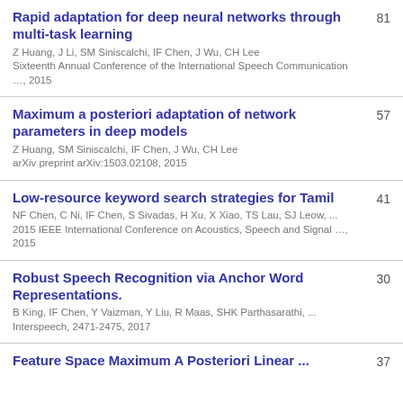Rapid adaptation for deep neural networks through multi-task learning
Z Huang, J Li, SM Siniscalchi, IF Chen, J Wu, CH Lee
Sixteenth Annual Conference of the International Speech Communication …, 2015
81
Maximum a posteriori adaptation of network parameters in deep models
Z Huang, SM Siniscalchi, IF Chen, J Wu, CH Lee
arXiv preprint arXiv:1503.02108, 2015
57
Low-resource keyword search strategies for Tamil
NF Chen, C Ni, IF Chen, S Sivadas, H Xu, X Xiao, TS Lau, SJ Leow, ...
2015 IEEE International Conference on Acoustics, Speech and Signal …, 2015
41
Robust Speech Recognition via Anchor Word Representations.
B King, IF Chen, Y Vaizman, Y Liu, R Maas, SHK Parthasarathi, ...
Interspeech, 2471-2475, 2017
30
Feature Space Maximum A Posteriori Linear ...
37